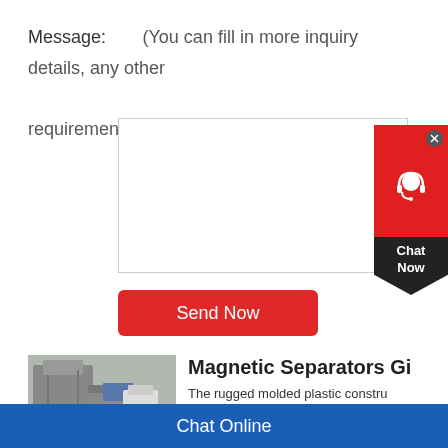Message:	(You can fill in more inquiry details, any other requirements or questions.)
[Figure (screenshot): Empty text input box / textarea for message input]
[Figure (infographic): Chat Now widget in red and dark colors with headset icon and close button]
Send Now
[Figure (photo): Industrial magnetic separator machinery photo]
Magnetic Separators Gi
The rugged molded plastic constru... corrode. This Magnetic Separator h... has a simple spring plunger that has... permits extraction of magnetic mate...
Chat Online